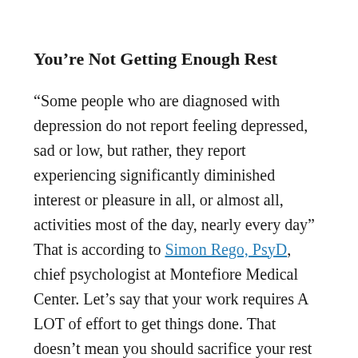You're Not Getting Enough Rest
“Some people who are diagnosed with depression do not report feeling depressed, sad or low, but rather, they report experiencing significantly diminished interest or pleasure in all, or almost all, activities most of the day, nearly every day” That is according to Simon Rego, PsyD, chief psychologist at Montefiore Medical Center. Let’s say that your work requires A LOT of effort to get things done. That doesn’t mean you should sacrifice your rest and sleep all the time for it. Remember, sleep is one of the BASIC and most important